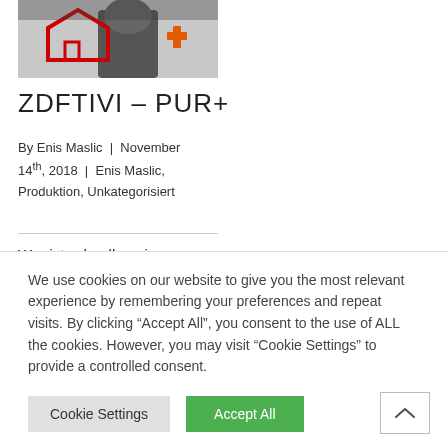[Figure (photo): Photo showing a person in a hoodie in front of a red outlined house model with a red cross, suggesting a news/media article image.]
ZDFTIVI – PUR+
By Enis Maslic | November 14th, 2018 | Enis Maslic, Produktion, Unkategorisiert
Wer ist schneller, ein Parkourläufer oder die Polizei?
We use cookies on our website to give you the most relevant experience by remembering your preferences and repeat visits. By clicking "Accept All", you consent to the use of ALL the cookies. However, you may visit "Cookie Settings" to provide a controlled consent.